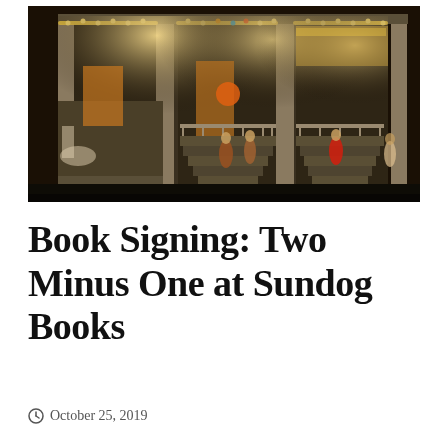[Figure (photo): Night-time exterior photo of Sundog Books, a bookstore building with white columns, string lights, steps leading up to the entrance, and people walking outside.]
Book Signing: Two Minus One at Sundog Books
October 25, 2019